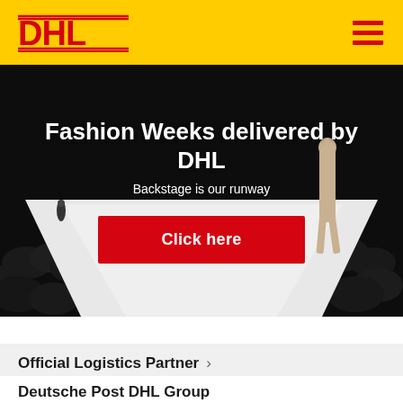DHL — Navigation header with DHL logo and hamburger menu
[Figure (photo): Fashion runway scene with model walking on white catwalk, dark audience background, dramatic lighting. Overlaid with hero text and CTA button.]
Fashion Weeks delivered by DHL
Backstage is our runway
Click here
Official Logistics Partner >
Deutsche Post DHL Group